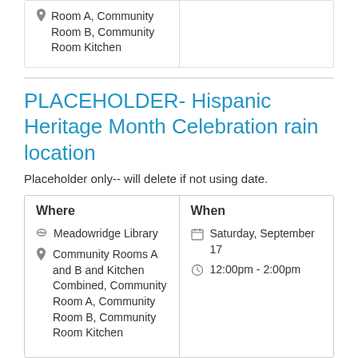Room A, Community Room B, Community Room Kitchen
PLACEHOLDER- Hispanic Heritage Month Celebration rain location
Placeholder only-- will delete if not using date.
| Where | When |
| --- | --- |
| Meadowridge Library
Community Rooms A and B and Kitchen Combined, Community Room A, Community Room B, Community Room Kitchen | Saturday, September 17
12:00pm - 2:00pm |